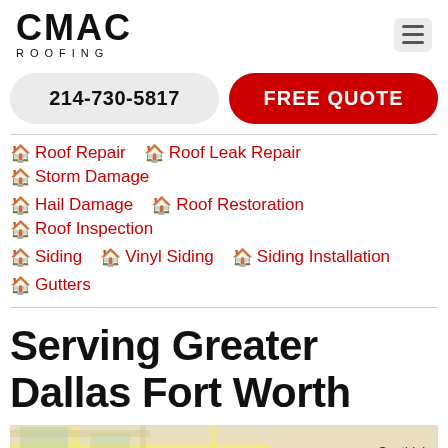[Figure (logo): CMAC Roofing logo with bold black text and ROOFING subtitle]
214-730-5817
FREE QUOTE
Roof Repair
Roof Leak Repair
Storm Damage
Hail Damage
Roof Restoration
Roof Inspection
Siding
Vinyl Siding
Siding Installation
Gutters
Serving Greater Dallas Fort Worth
[Figure (map): Map of Greater Dallas Fort Worth area showing Keller and Southlake labels]